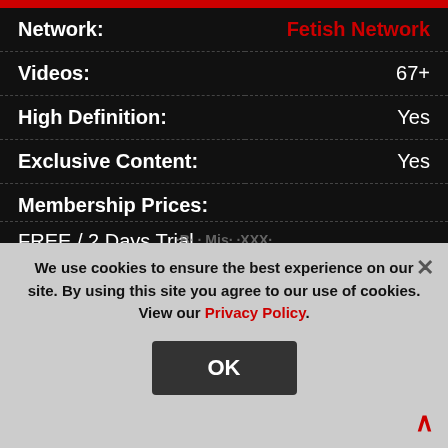| Field | Value |
| --- | --- |
| Network: | Fetish Network |
| Videos: | 67+ |
| High Definition: | Yes |
| Exclusive Content: | Yes |
Membership Prices:
FREE / 2 Days Trial
$39.95 / 1 Month
$72.00 / 3 Months
Visit Site »
We use cookies to ensure the best experience on our site. By using this site you agree to our use of cookies. View our Privacy Policy.
OK